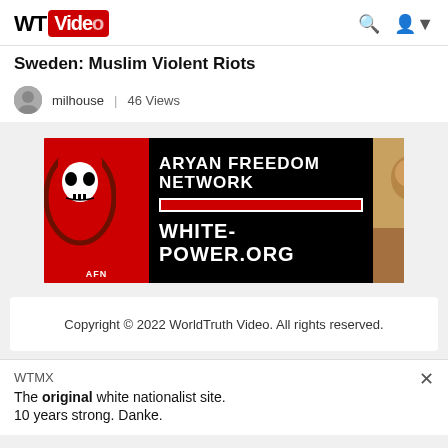WT Video
Sweden: Muslim Violent Riots
milhouse | 46 Views
[Figure (photo): Advertisement banner for 'Aryan Freedom Network' and 'WHITE-POWER.ORG' with a red shield logo featuring a skull and the letters AFN on the left, bold white text in the center, and a painting of soldiers on the right, all on a black background.]
Copyright © 2022 WorldTruth Video. All rights reserved.
WTMX
The original white nationalist site.
10 years strong. Danke.